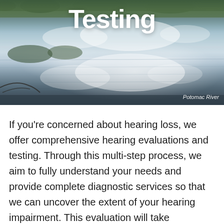[Figure (photo): Landscape photograph of the Potomac River showing calm water reflecting clouds and sky, with green vegetation along the banks. The word 'Testing' appears as a white bold heading overlaid on the top portion of the image.]
Potomac River
If you’re concerned about hearing loss, we offer comprehensive hearing evaluations and testing. Through this multi-step process, we aim to fully understand your needs and provide complete diagnostic services so that we can uncover the extent of your hearing impairment. This evaluation will take approximately 30-60 min to complete.